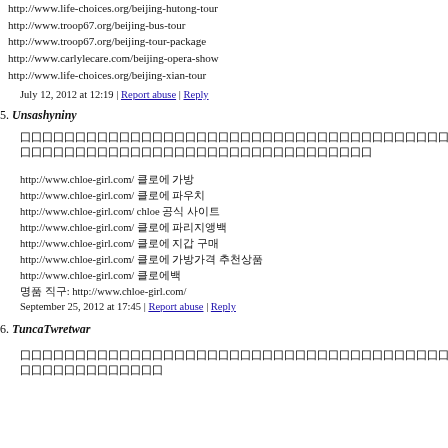http://www.life-choices.org/beijing-hutong-tour
http://www.troop67.org/beijing-bus-tour
http://www.troop67.org/beijing-tour-package
http://www.carlylecare.com/beijing-opera-show
http://www.life-choices.org/beijing-xian-tour
July 12, 2012 at 12:19 | Report abuse | Reply
5. Unsashyniny
[Chinese characters block text]
http://www.chloe-girl.com/ [Korean]
http://www.chloe-girl.com/ [Korean]
http://www.chloe-girl.com/ chloe [Korean]
http://www.chloe-girl.com/ [Korean]
http://www.chloe-girl.com/ [Korean]
http://www.chloe-girl.com/ [Korean]
http://www.chloe-girl.com/ [Korean]
[Korean]: http://www.chloe-girl.com/
September 25, 2012 at 17:45 | Report abuse | Reply
6. TuncaTwretwar
[Chinese characters block text]